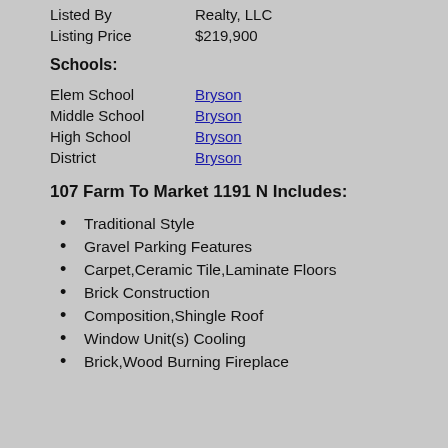Listed By    Realty, LLC
Listing Price    $219,900
Schools:
Elem School    Bryson
Middle School    Bryson
High School    Bryson
District    Bryson
107 Farm To Market 1191 N Includes:
Traditional Style
Gravel Parking Features
Carpet,Ceramic Tile,Laminate Floors
Brick Construction
Composition,Shingle Roof
Window Unit(s) Cooling
Brick,Wood Burning Fireplace